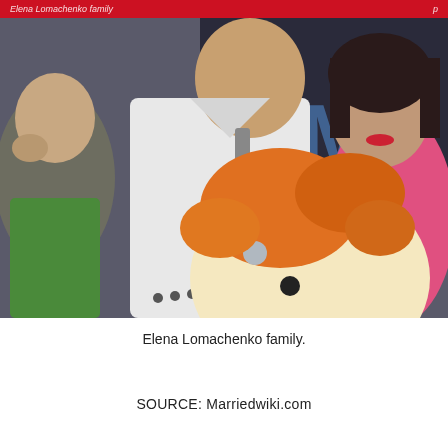Elena Lomachenko family
[Figure (photo): Family photo showing a man in a white jacket holding an orange stuffed animal toy, a young child in a green shirt on the left, and a woman in a pink top on the right, with a dark banner with text 'MA' in the background.]
Elena Lomachenko family.
SOURCE: Marriedwiki.com